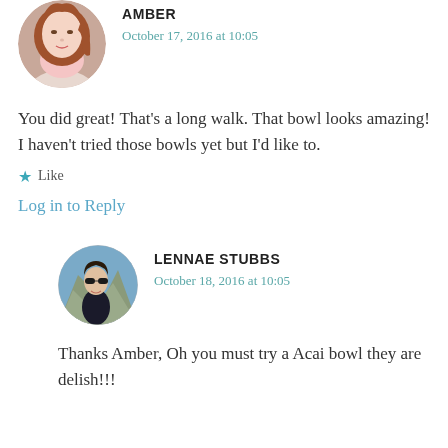[Figure (photo): Circular avatar photo of Amber, a woman with red/auburn hair]
AMBER
October 17, 2016 at 10:05
You did great! That's a long walk. That bowl looks amazing! I haven't tried those bowls yet but I'd like to.
★ Like
Log in to Reply
[Figure (photo): Circular avatar photo of Lennae Stubbs, a woman with sunglasses on a mountain]
LENNAE STUBBS
October 18, 2016 at 10:05
Thanks Amber, Oh you must try a Acai bowl they are delish!!!